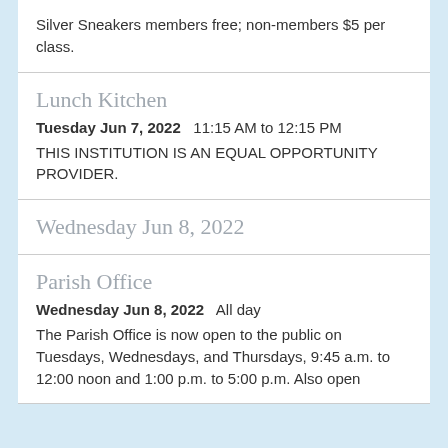Silver Sneakers members free; non-members $5 per class.
Lunch Kitchen
Tuesday Jun 7, 2022   11:15 AM to 12:15 PM
THIS INSTITUTION IS AN EQUAL OPPORTUNITY PROVIDER.
Wednesday Jun 8, 2022
Parish Office
Wednesday Jun 8, 2022   All day
The Parish Office is now open to the public on Tuesdays, Wednesdays, and Thursdays, 9:45 a.m. to 12:00 noon and 1:00 p.m. to 5:00 p.m.  Also open